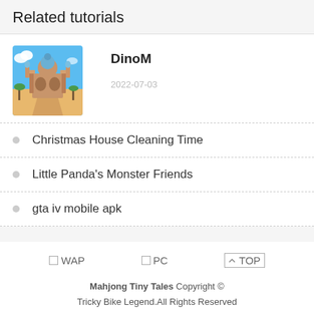Related tutorials
[Figure (illustration): Thumbnail image of a mobile game showing a fantasy/Arabian-style castle building in a desert setting with palm trees and blue sky.]
DinoM
2022-07-03
Christmas House Cleaning Time
Little Panda's Monster Friends
gta iv mobile apk
⬜WAP  ⬜PC  ⬆TOP
Mahjong Tiny Tales Copyright © Tricky Bike Legend.All Rights Reserved